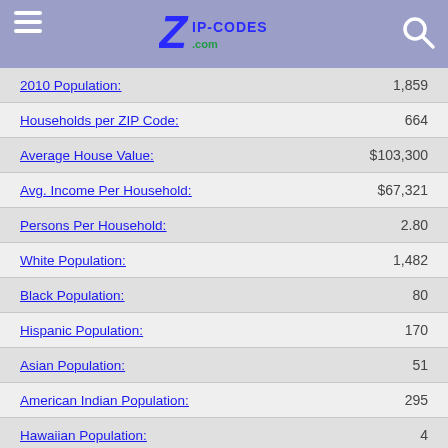Zip-Codes.com
| Label | Value |
| --- | --- |
| 2010 Population: | 1,859 |
| Households per ZIP Code: | 664 |
| Average House Value: | $103,300 |
| Avg. Income Per Household: | $67,321 |
| Persons Per Household: | 2.80 |
| White Population: | 1,482 |
| Black Population: | 80 |
| Hispanic Population: | 170 |
| Asian Population: | 51 |
| American Indian Population: | 295 |
| Hawaiian Population: | 4 |
| Other Population: | 84 |